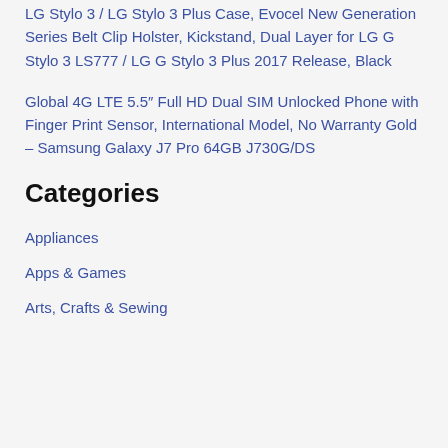LG Stylo 3 / LG Stylo 3 Plus Case, Evocel New Generation Series Belt Clip Holster, Kickstand, Dual Layer for LG G Stylo 3 LS777 / LG G Stylo 3 Plus 2017 Release, Black
Global 4G LTE 5.5″ Full HD Dual SIM Unlocked Phone with Finger Print Sensor, International Model, No Warranty Gold – Samsung Galaxy J7 Pro 64GB J730G/DS
Categories
Appliances
Apps & Games
Arts, Crafts & Sewing